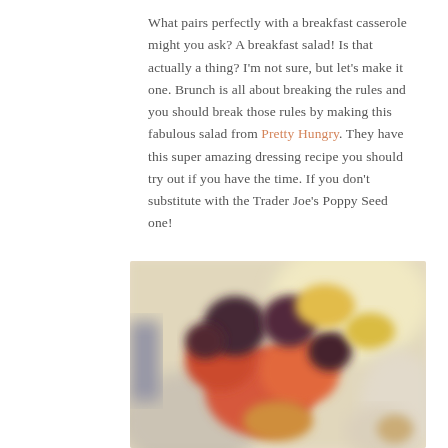What pairs perfectly with a breakfast casserole might you ask? A breakfast salad! Is that actually a thing? I'm not sure, but let's make it one. Brunch is all about breaking the rules and you should break those rules by making this fabulous salad from Pretty Hungry. They have this super amazing dressing recipe you should try out if you have the time. If you don't substitute with the Trader Joe's Poppy Seed one!
[Figure (photo): A blurry close-up photo of a colorful fruit salad with dark berries, red and orange fruit pieces on a light background.]